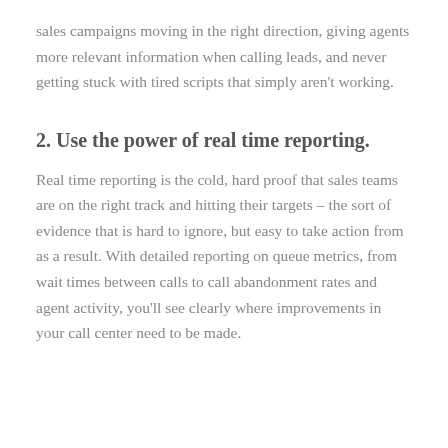sales campaigns moving in the right direction, giving agents more relevant information when calling leads, and never getting stuck with tired scripts that simply aren't working.
2. Use the power of real time reporting.
Real time reporting is the cold, hard proof that sales teams are on the right track and hitting their targets – the sort of evidence that is hard to ignore, but easy to take action from as a result. With detailed reporting on queue metrics, from wait times between calls to call abandonment rates and agent activity, you'll see clearly where improvements in your call center need to be made.